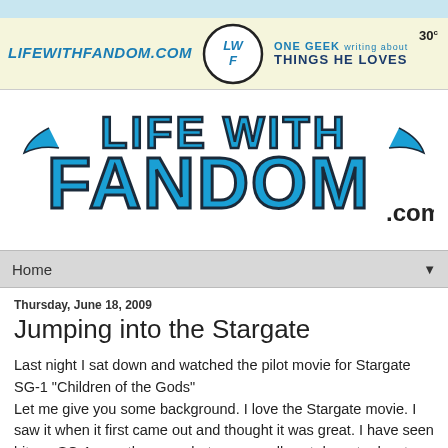[Figure (logo): Life With Fandom banner header with LWF logo circle, site name in italic blue, tagline 'One Geek writing about Things He Loves', price 30 cents]
[Figure (logo): Life With Fandom large comic-book style logo in blue and black on white background]
Home ▼
Thursday, June 18, 2009
Jumping into the Stargate
Last night I sat down and watched the pilot movie for Stargate SG-1 "Children of the Gods"
Let me give you some background. I love the Stargate movie. I saw it when it first came out and thought it was great. I have seen bits or SG-1 over the years but never really sat down to devote much time to it. Nonetheless I have